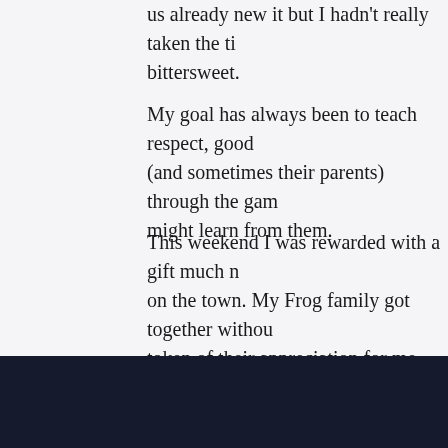us already new it but I hadn't really taken the ti... bittersweet.
My goal has always been to teach respect, good ... (and sometimes their parents) through the gam... might learn from them.
This weekend I was rewarded with a gift much n... on the town. My Frog family got together withou... token of their appreciation for me, they did a gr... a few of the knuckleheads I've had the pleasure...
Go Frogs.